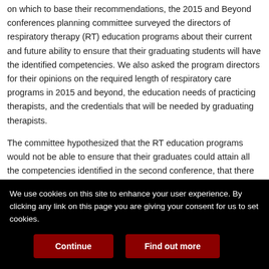on which to base their recommendations, the 2015 and Beyond conferences planning committee surveyed the directors of respiratory therapy (RT) education programs about their current and future ability to ensure that their graduating students will have the identified competencies. We also asked the program directors for their opinions on the required length of respiratory care programs in 2015 and beyond, the education needs of practicing therapists, and the credentials that will be needed by graduating therapists.
The committee hypothesized that the RT education programs would not be able to ensure that their graduates could attain all the competencies identified in the second conference, that there would be differences in opinion between the associate-degree and baccalaureate-degree program directors on the education
We use cookies on this site to enhance your user experience. By clicking any link on this page you are giving your consent for us to set cookies.